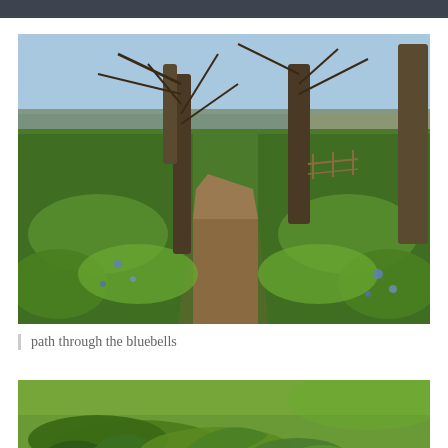[Figure (photo): A winding dirt path through a lush green forest floor covered in bluebells and low green plants, with bare deciduous trees on either side and a lake or river visible in the background under a blue sky.]
path through the bluebells
[Figure (photo): A close-up view of green bluebell leaves and foliage covering the ground, with a blurred green background.]